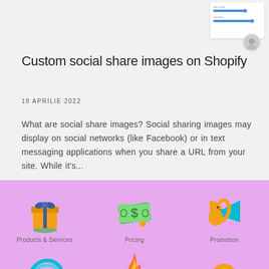[Figure (screenshot): Partial screenshot of a UI with sliders/settings panel, top-right of the card]
Custom social share images on Shopify
18 APRILIE 2022
What are social share images? Social sharing images may display on social networks (like Facebook) or in text messaging applications when you share a URL from your site. While it's...
[Figure (illustration): Purple background section with category icons: Products & Services (gift box), Pricing (dollar bills), Promotion (squirrel with megaphone), and partial icons below]